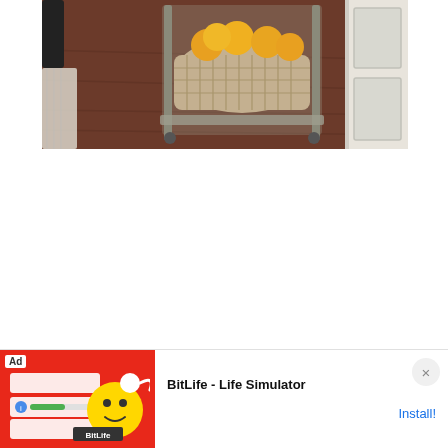[Figure (photo): A kitchen cart on wheels with a wicker basket filled with yellow/orange fruits (lemons or oranges) on top, placed on a dark hardwood floor near a white door with glass panels. A chair leg and a rug are partially visible on the left.]
[Figure (screenshot): Advertisement banner at the bottom of the page for 'BitLife - Life Simulator'. Left side shows a red background with the BitLife game logo/mascot. Right side shows 'Ad' label, 'BitLife - Life Simulator' text, and an 'Install!' call-to-action button in blue. A close (X) button is on the right.]